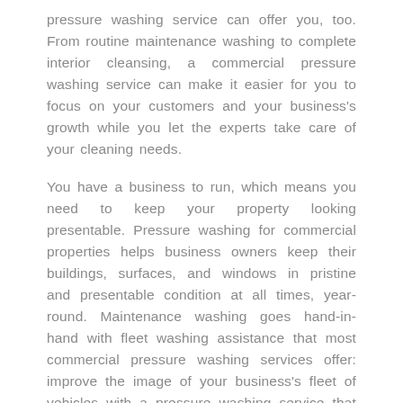pressure washing service can offer you, too. From routine maintenance washing to complete interior cleansing, a commercial pressure washing service can make it easier for you to focus on your customers and your business's growth while you let the experts take care of your cleaning needs.
You have a business to run, which means you need to keep your property looking presentable. Pressure washing for commercial properties helps business owners keep their buildings, surfaces, and windows in pristine and presentable condition at all times, year-round. Maintenance washing goes hand-in-hand with fleet washing assistance that most commercial pressure washing services offer: improve the image of your business's fleet of vehicles with a pressure washing service that gets rid of grime and dust from your commercial trucks.